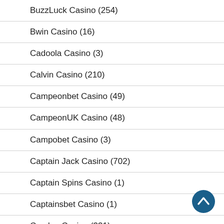BuzzLuck Casino (254)
Bwin Casino (16)
Cadoola Casino (3)
Calvin Casino (210)
Campeonbet Casino (49)
CampeonUK Casino (48)
Campobet Casino (3)
Captain Jack Casino (702)
Captain Spins Casino (1)
Captainsbet Casino (1)
Casdep Casino (331)
Cash Cabin (1)
Cashalot Casino (8)
Cashimashi Casino (1)